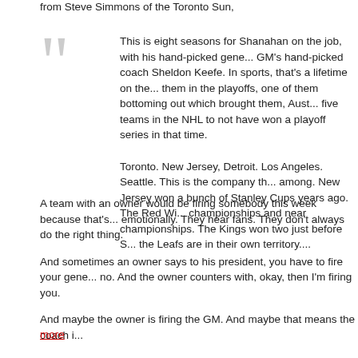from Steve Simmons of the Toronto Sun,
This is eight seasons for Shanahan on the job, with his hand-picked gene... GM's hand-picked coach Sheldon Keefe. In sports, that's a lifetime on the... them in the playoffs, one of them bottoming out which brought them, Aust... five teams in the NHL to not have won a playoff series in that time.
Toronto. New Jersey, Detroit. Los Angeles. Seattle. This is the company th... among. New Jersey won a bunch of Stanley Cups years ago. The Red Wi... championships and near championships. The Kings won two just before S... the Leafs are in their own territory....
A team with an owner would be firing somebody this week because that's... emotionally. They hear fans. They don't always do the right thing.
And sometimes an owner says to his president, you have to fire your gene... no. And the owner counters with, okay, then I'm firing you.
And maybe the owner is firing the GM. And maybe that means the coach i...
The difficulty in all this is that Shanahan has positioned the Leafs to succe... Dubas has done some fine work, only the teams he has built haven't won... regular-season record as coach, but a .421 record in the post-season.
more